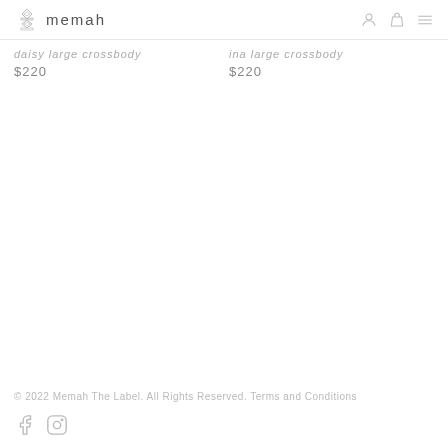memah
daisy large crossbody
$220
ina large crossbody
$220
© 2022 Memah The Label. All Rights Reserved. Terms and Conditions
[Figure (logo): Facebook and Instagram social media icons]